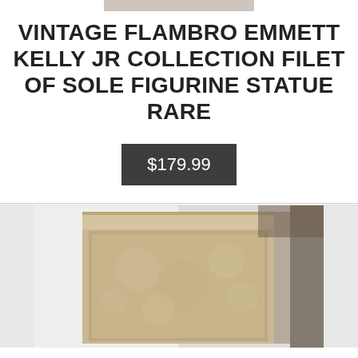[Figure (photo): Partial view of a figurine statue at the top of the page, cropped]
VINTAGE FLAMBRO EMMETT KELLY JR COLLECTION FILET OF SOLE FIGURINE STATUE RARE
$179.99
[Figure (photo): Photo of a decorative box or pedestal with floral/scroll embossed pattern in beige/gold tones, on a white fabric background]